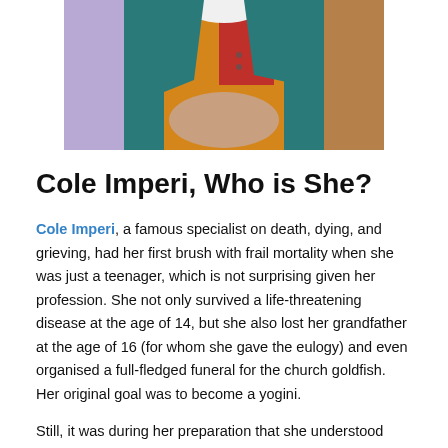[Figure (photo): Partial photo of a person wearing colorful clothing including teal, orange/mustard, purple, red and white garments, cropped to show upper torso and neck area]
Cole Imperi, Who is She?
Cole Imperi, a famous specialist on death, dying, and grieving, had her first brush with frail mortality when she was just a teenager, which is not surprising given her profession. She not only survived a life-threatening disease at the age of 14, but she also lost her grandfather at the age of 16 (for whom she gave the eulogy) and even organised a full-fledged funeral for the church goldfish. Her original goal was to become a yogini.
Still, it was during her preparation that she understood "yoga is designed to prepare you to die," and that she'd been